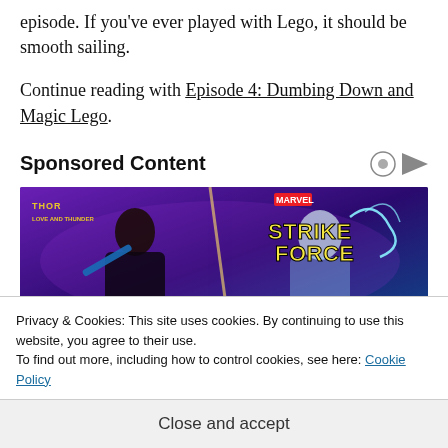episode. If you've ever played with Lego, it should be smooth sailing.
Continue reading with Episode 4: Dumbing Down and Magic Lego.
Sponsored Content
[Figure (photo): Thor: Love and Thunder / Marvel Strike Force promotional advertisement banner showing two female superhero characters against a purple/blue background]
Privacy & Cookies: This site uses cookies. By continuing to use this website, you agree to their use.
To find out more, including how to control cookies, see here: Cookie Policy
Close and accept